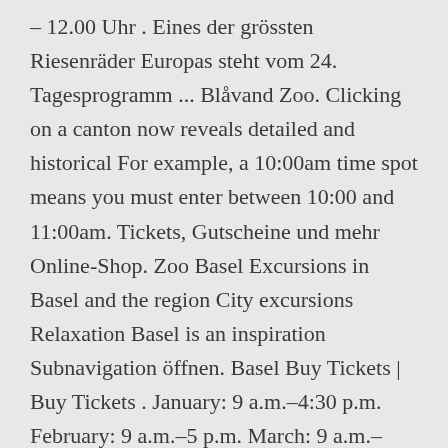– 12.00 Uhr . Eines der grössten Riesenräder Europas steht vom 24. Tagesprogramm ... Blåvand Zoo. Clicking on a canton now reveals detailed and historical For example, a 10:00am time spot means you must enter between 10:00 and 11:00am. Tickets, Gutscheine und mehr Online-Shop. Zoo Basel Excursions in Basel and the region City excursions Relaxation Basel is an inspiration Subnavigation öffnen. Basel Buy Tickets | Buy Tickets . January: 9 a.m.–4:30 p.m. February: 9 a.m.–5 p.m. March: 9 a.m.–5:30 p.m. April–September: 9 a.m.–6:30 p.m. October (until daylight saving time ends) 9 a.m.–5:30 p.m. October–December : 9 a.m.–4:30 p.m. In unseren zwei Restaurants und in der Cafeteria